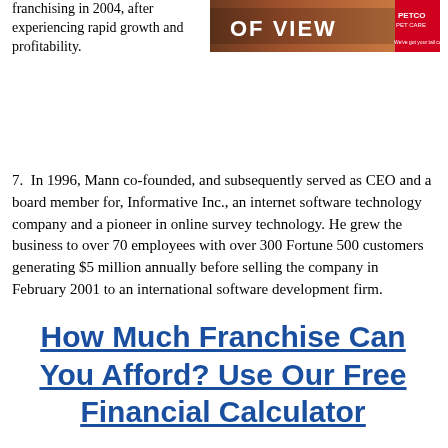franchising in 2004, after experiencing rapid growth and profitability.
[Figure (photo): A banner image showing text 'OF VIEW' with a pet-related image and a Petco Pet Care logo in the upper right corner.]
7.  In 1996, Mann co-founded, and subsequently served as CEO and a board member for, Informative Inc., an internet software technology company and a pioneer in online survey technology. He grew the business to over 70 employees with over 300 Fortune 500 customers generating $5 million annually before selling the company in February 2001 to an international software development firm.
How Much Franchise Can You Afford? Use Our Free Financial Calculator